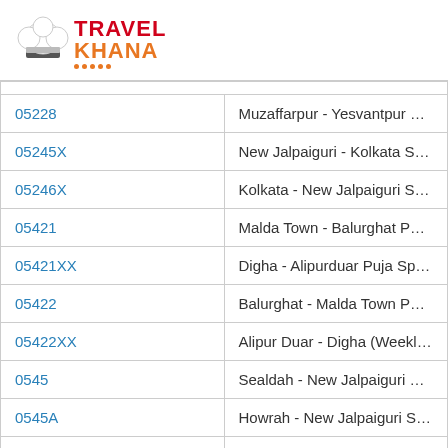[Figure (logo): Travel Khana logo with chef hat icon, red and orange text]
| Train Number | Train Name |
| --- | --- |
| 05228 | Muzaffarpur - Yesvantpur Special Fare Spe |
| 05245X | New Jalpaiguri - Kolkata Special Fare Spe |
| 05246X | Kolkata - New Jalpaiguri Special Fare Spe |
| 05421 | Malda Town - Balurghat Passenger Specia |
| 05421XX | Digha - Alipurduar Puja Special |
| 05422 | Balurghat - Malda Town Passenger Specia |
| 05422XX | Alipur Duar - Digha (Weekly) Puja Special |
| 0545 | Sealdah - New Jalpaiguri Special Fare Spe |
| 0545A | Howrah - New Jalpaiguri Shatabdi Special |
| 0546 | New Jalpaiguri - Sealdah Special Fare Spe |